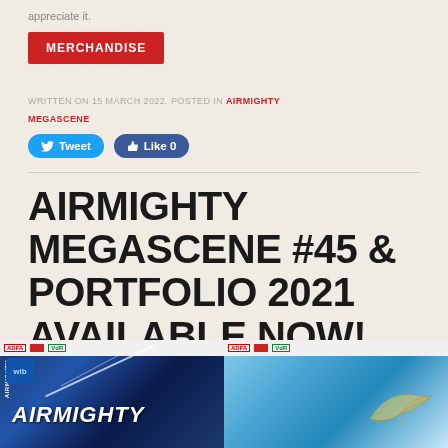appreciate it.
MERCHANDISE
WRITTEN ON 15 MARCH 2022. POSTED IN AIRMIGHTY MEGASCENE
[Figure (screenshot): Twitter Tweet button and Facebook Like 0 button]
AIRMIGHTY MEGASCENE #45 & PORTFOLIO 2021 AVAILABLE NOW!
[Figure (photo): Two magazine covers showing Airmighty Megascene issues with aviation imagery, dark blue and light blue backgrounds]